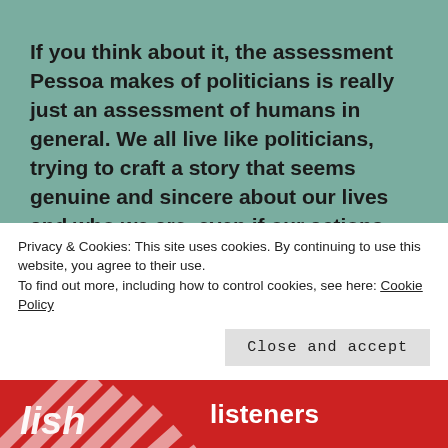If you think about it, the assessment Pessoa makes of politicians is really just an assessment of humans in general. We all live like politicians, trying to craft a story that seems genuine and sincere about our lives and who we are, even if our actions, decisions, and behaviors are partially self-serving. The politician is just an easy example of how humans behave in ways that appear contradictory. We should recognize that men are not angles, but we are (in most instances) not complete devils either. We have moments of genuine sincerity, but we are also capable of boundless deception. If we are
Privacy & Cookies: This site uses cookies. By continuing to use this website, you agree to their use.
To find out more, including how to control cookies, see here: Cookie Policy
Close and accept
[Figure (other): Bottom red banner with diagonal striped image on left and 'listeners' text on right in white bold font]